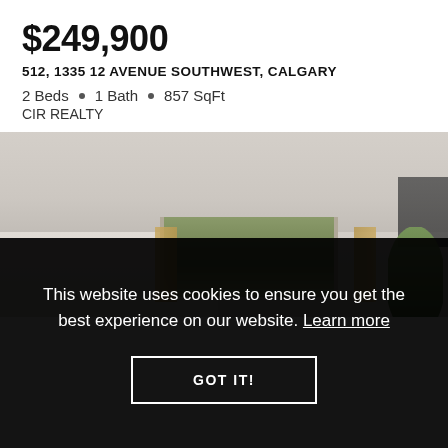$249,900
512, 1335 12 AVENUE SOUTHWEST, CALGARY
2 Beds • 1 Bath • 857 SqFt
CIR REALTY
[Figure (photo): Interior photo of a living room showing ceiling, walls, window with curtains, and plant]
This website uses cookies to ensure you get the best experience on our website. Learn more
GOT IT!